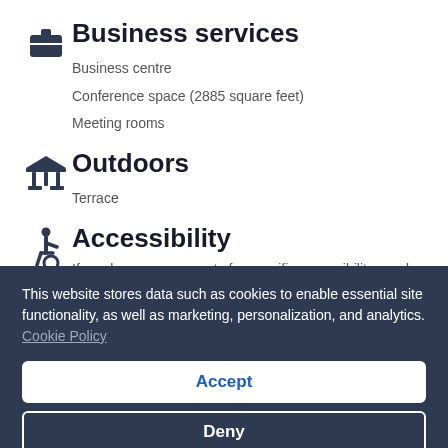Business services
Business centre
Conference space (2885 square feet)
Meeting rooms
Outdoors
Terrace
Accessibility
If you have any requests for specific accessibility needs, please contact the property using the information on the
This website stores data such as cookies to enable essential site functionality, as well as marketing, personalization, and analytics. Cookie Policy
Accept
Deny